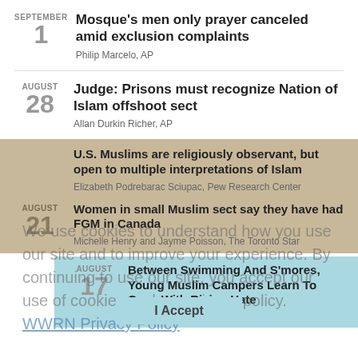SEPTEMBER 1 — Mosque's men only prayer canceled amid exclusion complaints — Philip Marcelo, AP
AUGUST 28 — Judge: Prisons must recognize Nation of Islam offshoot sect — Allan Durkin Richer, AP
U.S. Muslims are religiously observant, but open to multiple interpretations of Islam — Elizabeth Podrebarac Sciupac, Pew Research Center
AUGUST 21 — Women in small Muslim sect say they have had FGM in Canada — Michelle Henry and Jayme Poisson, The Toronto Star
AUGUST 17 — Between Swimming And S'mores, Young Muslim Campers Learn To Cope With Rising Hate — Leila Fadel, NPR
We use cookies to understand how you use our site and to improve your experience. By continuing to use our site, you accept our use of cookies and our privacy policy. WWRN Privacy Policy
I Accept